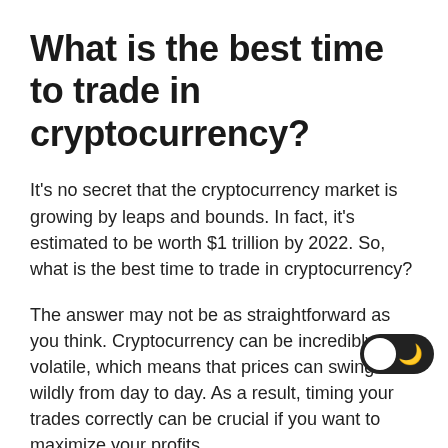What is the best time to trade in cryptocurrency?
It's no secret that the cryptocurrency market is growing by leaps and bounds. In fact, it's estimated to be worth $1 trillion by 2022. So, what is the best time to trade in cryptocurrency?
The answer may not be as straightforward as you think. Cryptocurrency can be incredibly volatile, which means that prices can swing wildly from day to day. As a result, timing your trades correctly can be crucial if you want to maximize your profits.
That said, there are certain times of year when the cryptocurrency market tends to be more stable than others. For example, sentiment analysis (a method of assessing public opinion) has shown that December is generally a good time to invest in cryptocurrencies. This is because people tend to give